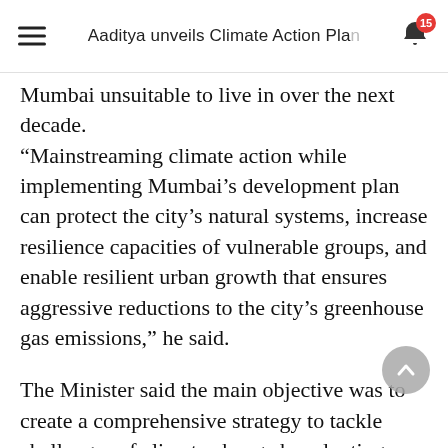Aaditya unveils Climate Action Plan
Mumbai unsuitable to live in over the next decade. “Mainstreaming climate action while implementing Mumbai’s development plan can protect the city’s natural systems, increase resilience capacities of vulnerable groups, and enable resilient urban growth that ensures aggressive reductions to the city’s greenhouse gas emissions,” he said.
The Minister said the main objective was to create a comprehensive strategy to tackle challenges of climate change by adopting inclusive and robust mitigation and adaptation strategies.
The plan will focus on six action tracks to introduce sector-specific strategies for mitigation and adaptation that can be obtained by climate projects. Th...